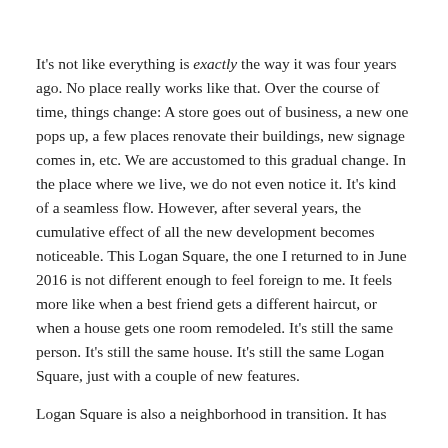It's not like everything is exactly the way it was four years ago. No place really works like that. Over the course of time, things change: A store goes out of business, a new one pops up, a few places renovate their buildings, new signage comes in, etc. We are accustomed to this gradual change. In the place where we live, we do not even notice it. It's kind of a seamless flow. However, after several years, the cumulative effect of all the new development becomes noticeable. This Logan Square, the one I returned to in June 2016 is not different enough to feel foreign to me. It feels more like when a best friend gets a different haircut, or when a house gets one room remodeled. It's still the same person. It's still the same house. It's still the same Logan Square, just with a couple of new features.
Logan Square is also a neighborhood in transition. It has